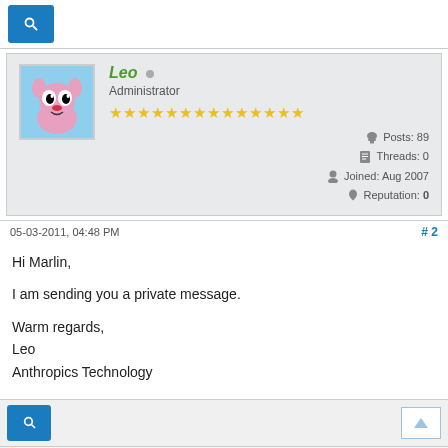[Figure (screenshot): Forum post by user Leo (Administrator). Avatar shows cartoon dog character. Username in green italic. Star rating row (14 stars). Stats: Posts: 89, Threads: 0, Joined: Aug 2007, Reputation: 0. Post dated 05-03-2011, 04:48 PM, post #2. Message: Hi Marlin, I am sending you a private message. Warm regards, Leo Anthropics Technology. Bottom search bar with up arrow.]
Leo
Administrator
Posts: 89
Threads: 0
Joined: Aug 2007
Reputation: 0
05-03-2011, 04:48 PM
#2
Hi Marlin,

I am sending you a private message.

Warm regards,
Leo
Anthropics Technology